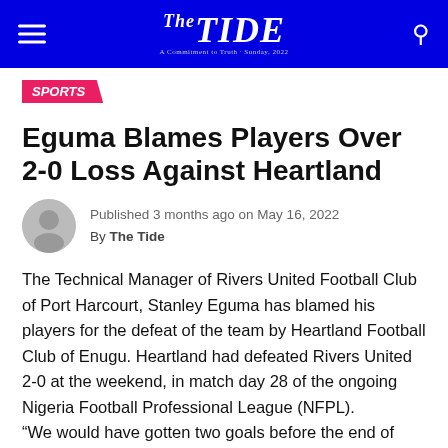The Tide
SPORTS
Eguma Blames Players Over 2-0 Loss Against Heartland
Published 3 months ago on May 16, 2022
By The Tide
The Technical Manager of Rivers United Football Club of Port Harcourt, Stanley Eguma has blamed his players for the defeat of the team by Heartland Football Club of Enugu. Heartland had defeated Rivers United 2-0 at the weekend, in match day 28 of the ongoing Nigeria Football Professional League (NFPL).
“We would have gotten two goals before the end of first half but my players could not convert their chances, but Heartland made use of theirs,” Eguma said.